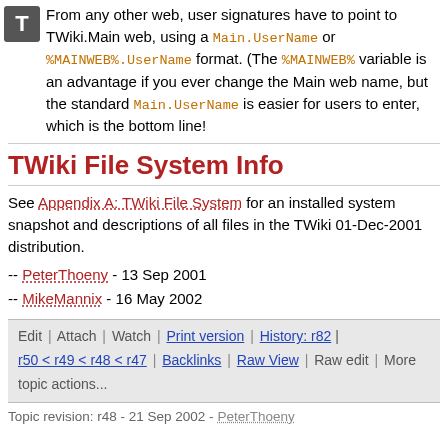From any other web, user signatures have to point to TWiki.Main web, using a Main.UserName or %MAINWEB%.UserName format. (The %MAINWEB% variable is an advantage if you ever change the Main web name, but the standard Main.UserName is easier for users to enter, which is the bottom line!
TWiki File System Info
See Appendix A: TWiki File System for an installed system snapshot and descriptions of all files in the TWiki 01-Dec-2001 distribution.
-- PeterThoeny - 13 Sep 2001
-- MikeMannix - 16 May 2002
Edit | Attach | Watch | Print version | History: r82 | r50 < r49 < r48 < r47 | Backlinks | Raw View | Raw edit | More topic actions...
Topic revision: r48 - 21 Sep 2002 - PeterThoeny